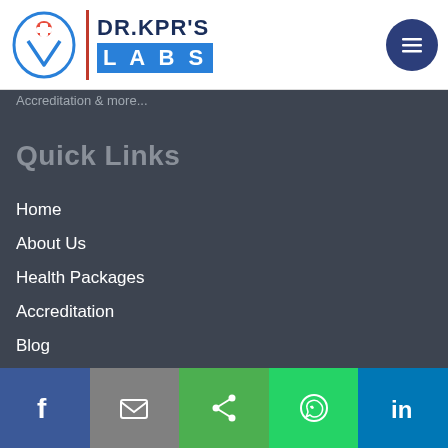[Figure (logo): DR.KPR'S LABS logo with icon, red divider, and blue LABS text]
Accreditation & more...
Quick Links
Home
About Us
Health Packages
Accreditation
Blog
Testimonials
Gallery
Contact Us
Public Docs
[Figure (infographic): Social sharing bar with Facebook, Email, Share, WhatsApp, LinkedIn buttons]